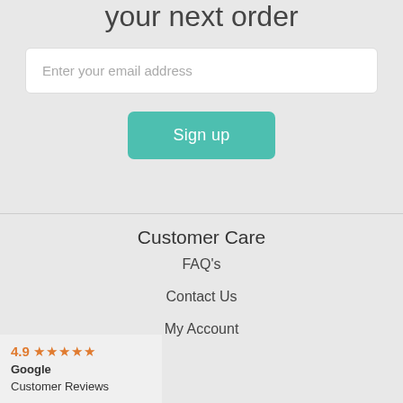your next order
Enter your email address
Sign up
Customer Care
FAQ's
Contact Us
My Account
4.9 ★★★★★ Google Customer Reviews